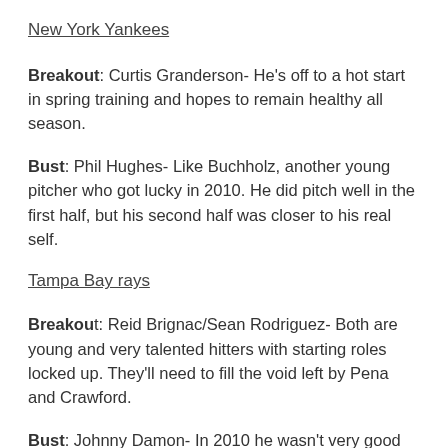New York Yankees
Breakout: Curtis Granderson- He's off to a hot start in spring training and hopes to remain healthy all season.
Bust: Phil Hughes- Like Buchholz, another young pitcher who got lucky in 2010. He did pitch well in the first half, but his second half was closer to his real self.
Tampa Bay rays
Breakout: Reid Brignac/Sean Rodriguez- Both are young and very talented hitters with starting roles locked up. They'll need to fill the void left by Pena and Crawford.
Bust: Johnny Damon- In 2010 he wasn't very good for Detroit, and although he isn't getting paid very much, he won't be any better for Tampa Bay in 2011. Read what I